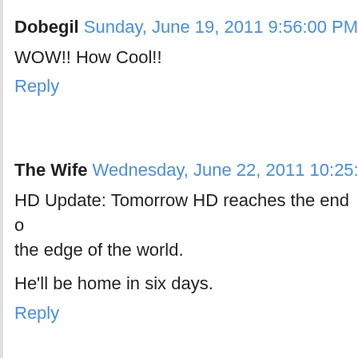Dobegil Sunday, June 19, 2011 9:56:00 PM
WOW!! How Cool!!
Reply
The Wife Wednesday, June 22, 2011 10:25:00
HD Update: Tomorrow HD reaches the end o... the edge of the world.
He'll be home in six days.
Reply
Dobegil Thursday, June 23, 2011 8:22:00 AM